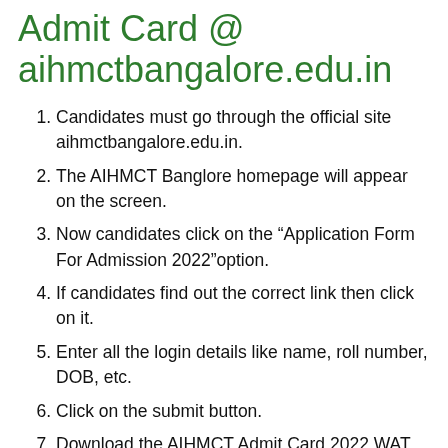Admit Card @ aihmctbangalore.edu.in
Candidates must go through the official site aihmctbangalore.edu.in.
The AIHMCT Banglore homepage will appear on the screen.
Now candidates click on the “Application Form For Admission 2022”option.
If candidates find out the correct link then click on it.
Enter all the login details like name, roll number, DOB, etc.
Click on the submit button.
Download the AIHMCT Admit Card 2022 WAT.
Take a printout of the hard copy for future